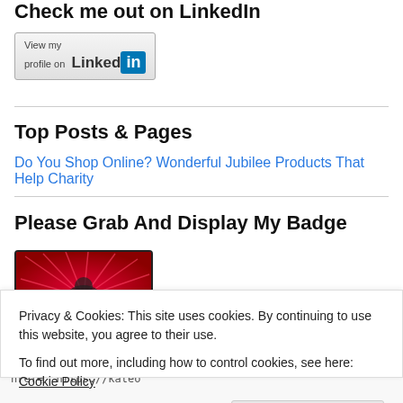Check me out on LinkedIn
[Figure (logo): LinkedIn 'View my profile on LinkedIn' badge button]
Top Posts & Pages
Do You Shop Online? Wonderful Jubilee Products That Help Charity
Please Grab And Display My Badge
[Figure (illustration): Badge image with text 'i'm getting my groove back' on red background with graphic]
Privacy & Cookies: This site uses cookies. By continuing to use this website, you agree to their use.
To find out more, including how to control cookies, see here: Cookie Policy
Close and accept
href= 'https://kateo